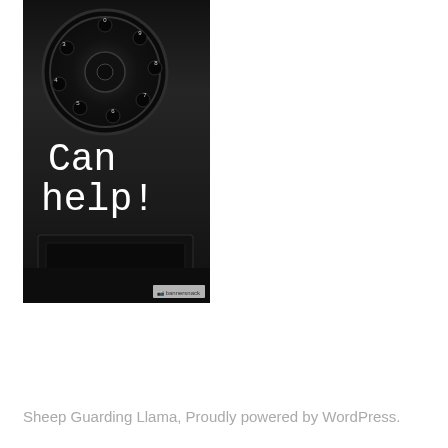[Figure (photo): Black and white close-up photo of a rotary phone dial with white text overlay reading 'Can help!' and a bannersnack watermark in the bottom right corner]
Sheep Guarding Llama, Proudly powered by WordPress.